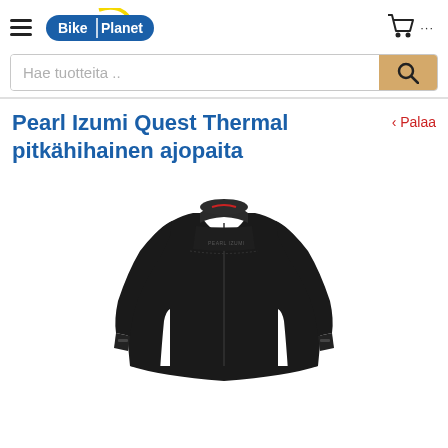Bike Planet
Hae tuotteita ..
Pearl Izumi Quest Thermal pitkähihainen ajopaita
‹ Palaa
[Figure (photo): Black Pearl Izumi Quest Thermal long-sleeve cycling jersey on a model, full-zip with stand collar, shown against white background.]